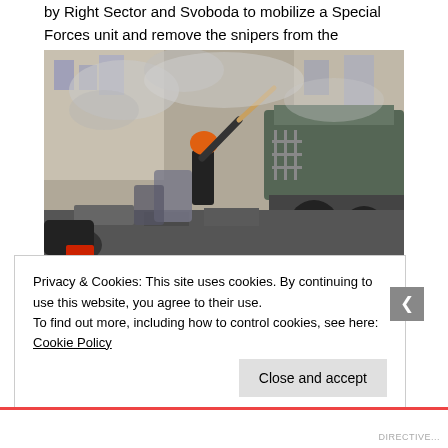by Right Sector and Svoboda to mobilize a Special Forces unit and remove the snipers from the buildings.
[Figure (photo): A protest scene showing a person in an orange hard hat swinging a long wooden implement amid smoke, debris, tires, and riot shields. A military vehicle is visible in the background.]
Privacy & Cookies: This site uses cookies. By continuing to use this website, you agree to their use.
To find out more, including how to control cookies, see here: Cookie Policy
Close and accept